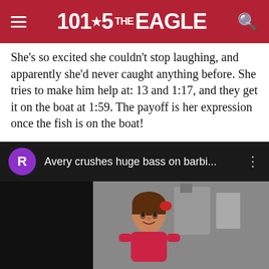101.5 THE EAGLE
She’s so excited she couldn’t stop laughing, and apparently she’d never caught anything before. She tries to make him help at: 13 and 1:17, and they get it on the boat at 1:59. The payoff is her expression once the fish is on the boat!
I can’t wait to do this with my daughter Ella! She’s just about to turn two, though, so I guess we’re another two years out...
[Figure (screenshot): YouTube video thumbnail showing a young girl in a pink outfit with the title 'Avery crushes huge bass on barbi...' and a purple avatar circle with the letter R]